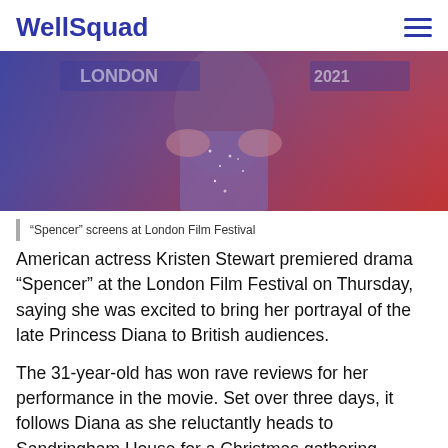WellSquad
[Figure (photo): Person in a sparkly dress at a red carpet event for Spencer at London Film Festival, with signage in the background]
“Spencer” screens at London Film Festival
American actress Kristen Stewart premiered drama “Spencer” at the London Film Festival on Thursday, saying she was excited to bring her portrayal of the late Princess Diana to British audiences.
The 31-year-old has won rave reviews for her performance in the movie. Set over three days, it follows Diana as she reluctantly heads to Sandringham House for a Christmas gathering